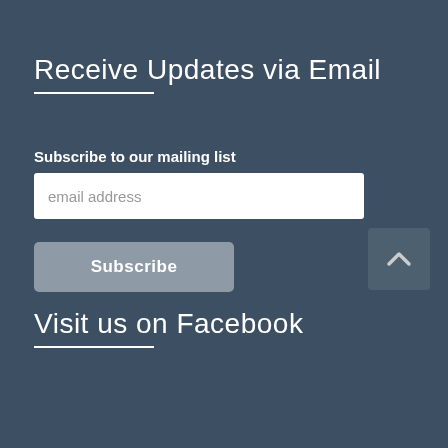Receive Updates via Email
Subscribe to our mailing list
email address
Subscribe
Visit us on Facebook